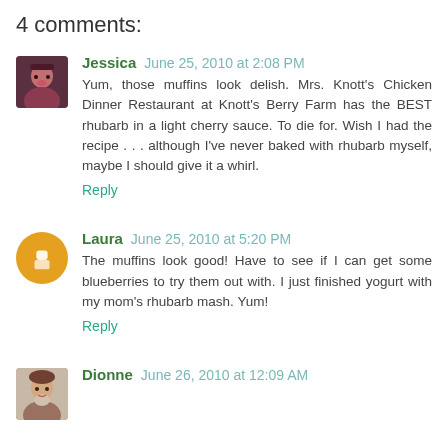4 comments:
Jessica  June 25, 2010 at 2:08 PM
Yum, those muffins look delish. Mrs. Knott's Chicken Dinner Restaurant at Knott's Berry Farm has the BEST rhubarb in a light cherry sauce. To die for. Wish I had the recipe . . . although I've never baked with rhubarb myself, maybe I should give it a whirl.
Reply
Laura  June 25, 2010 at 5:20 PM
The muffins look good! Have to see if I can get some blueberries to try them out with. I just finished yogurt with my mom's rhubarb mash. Yum!
Reply
Dionne  June 26, 2010 at 12:09 AM